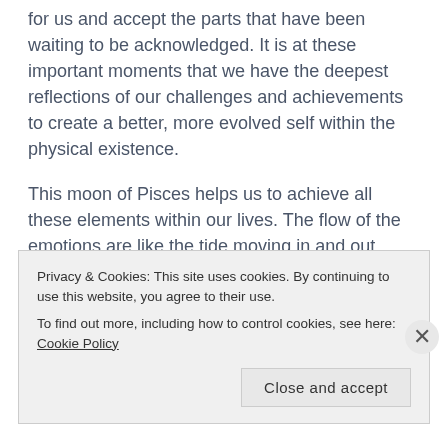for us and accept the parts that have been waiting to be acknowledged. It is at these important moments that we have the deepest reflections of our challenges and achievements to create a better, more evolved self within the physical existence.

This moon of Pisces helps us to achieve all these elements within our lives. The flow of the emotions are like the tide moving in and out towards the shore and then out to sea. This essence helps us to dive deeper in the abyss of unknowingness to find parts of ourselves that are looking to be part of our reality. In
Privacy & Cookies: This site uses cookies. By continuing to use this website, you agree to their use.
To find out more, including how to control cookies, see here: Cookie Policy